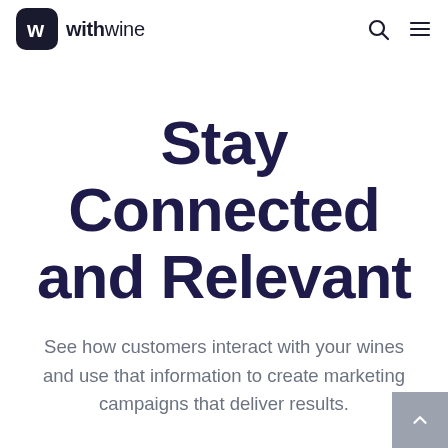withwine
Stay Connected and Relevant
See how customers interact with your wines and use that information to create marketing campaigns that deliver results.